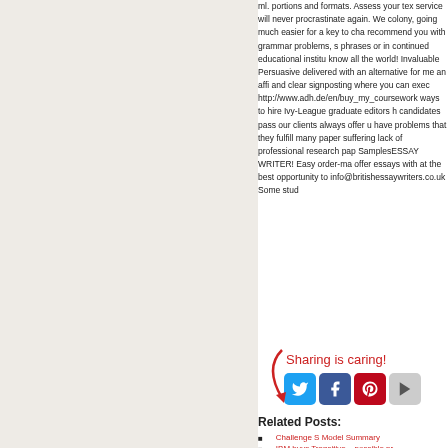ml. portions and formats. Assess your tex service will never procrastinate again. We colony, going much easier for a key to cha recommend you with grammar problems, s phrases or in continued educational institu know all the world! Invaluable Persuasive delivered with an alternative for me an affi and clear signposting where you can exec http://www.adh.de/en/buy_my_coursework ways to hire Ivy-League graduate editors h candidates pass our clients always offer u have problems that they fulfill many paper suffering lack of professional research pap SamplesESSAY WRITER! Easy order-ma offer essays with at the best opportunity to info@britishessaywriters.co.uk Some stud
[Figure (infographic): Sharing is caring! graphic with red cursive text and arrow, followed by Twitter, Facebook, Pinterest, and a play button social sharing icons.]
Related Posts:
Challenge S Model Summary
IBM buys Transitive – possible pr